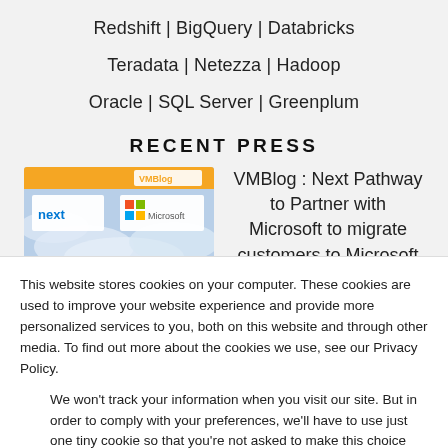Redshift | BigQuery | Databricks
Teradata | Netezza | Hadoop
Oracle | SQL Server | Greenplum
RECENT PRESS
[Figure (screenshot): VMBlog and Microsoft co-branded image with logos on a cloudy background]
VMBlog : Next Pathway to Partner with Microsoft to migrate customers to Microsoft Azure
This website stores cookies on your computer. These cookies are used to improve your website experience and provide more personalized services to you, both on this website and through other media. To find out more about the cookies we use, see our Privacy Policy.
We won't track your information when you visit our site. But in order to comply with your preferences, we'll have to use just one tiny cookie so that you're not asked to make this choice again.